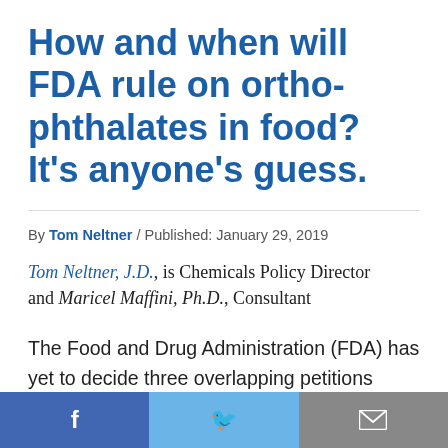How and when will FDA rule on ortho-phthalates in food? It's anyone's guess.
By Tom Neltner / Published: January 29, 2019
Tom Neltner, J.D., is Chemicals Policy Director and Maricel Maffini, Ph.D., Consultant
The Food and Drug Administration (FDA) has yet to decide three overlapping petitions requesting the agency take action on uses of ortho-phthalates in contact with food. Two of the
[Figure (other): Social sharing bar with Facebook, Twitter, and Email buttons at the bottom of the page]